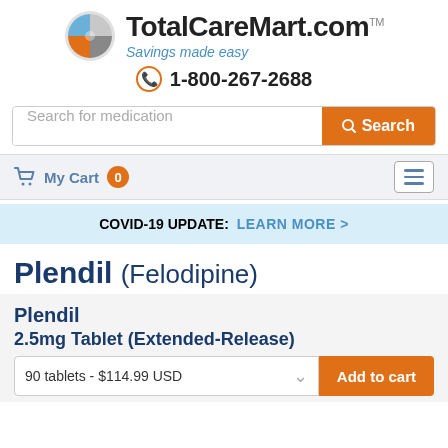[Figure (logo): TotalCareMart.com logo with circular quadrant icon (orange, blue, white, gray), tagline 'Savings made easy', and phone number 1-800-267-2688]
[Figure (other): Search bar with placeholder 'Search for medication' and orange Search button]
[Figure (other): Navigation bar with My Cart (0) and hamburger menu button]
COVID-19 UPDATE: LEARN MORE >
Plendil (Felodipine)
Plendil
2.5mg Tablet (Extended-Release)
90 tablets - $114.99 USD